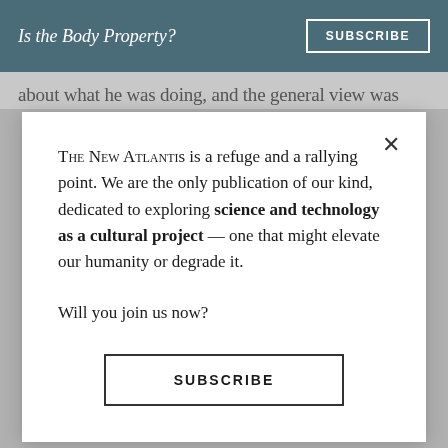Is the Body Property?
about what he was doing, and the general view was
THE NEW ATLANTIS is a refuge and a rallying point. We are the only publication of our kind, dedicated to exploring science and technology as a cultural project — one that might elevate our humanity or degrade it.

Will you join us now?
SUBSCRIBE